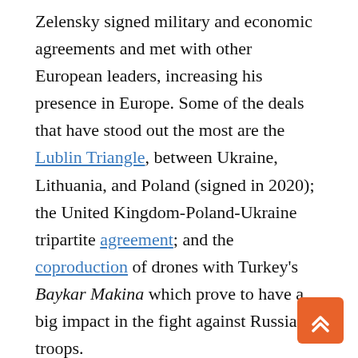Zelensky signed military and economic agreements and met with other European leaders, increasing his presence in Europe. Some of the deals that have stood out the most are the Lublin Triangle, between Ukraine, Lithuania, and Poland (signed in 2020); the United Kingdom-Poland-Ukraine tripartite agreement; and the coproduction of drones with Turkey's Baykar Makina which prove to have a big impact in the fight against Russian troops.

As Zelensky looks to balance against the Russian threat, it is clear that he is doing so with international support, which is what he has alv